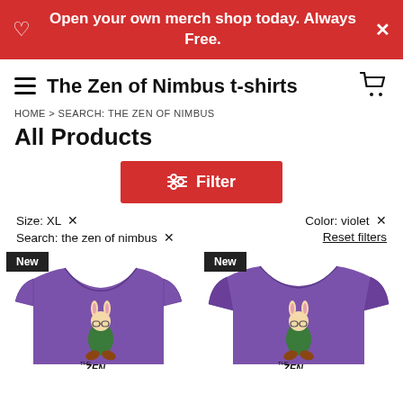Open your own merch shop today. Always Free.
The Zen of Nimbus t-shirts
HOME > SEARCH: THE ZEN OF NIMBUS
All Products
Filter
Size: XL ×
Color: violet ×
Search: the zen of nimbus ×
Reset filters
[Figure (photo): Two purple t-shirts with 'The Zen of Nimbus' graphic design showing a rabbit character in meditation pose, each labeled 'New']